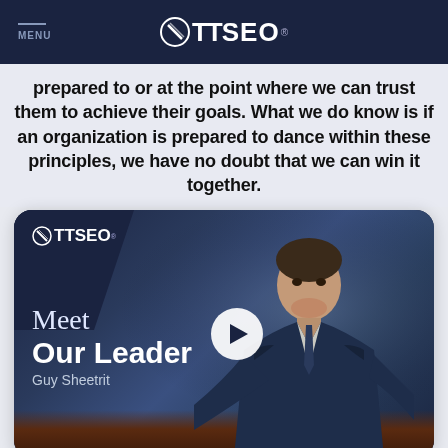MENU | TTSEO®
prepared to or at the point where we can trust them to achieve their goals. What we do know is if an organization is prepared to dance within these principles, we have no doubt that we can win it together.
[Figure (photo): Video thumbnail showing Guy Sheetrit, leader of TTSEO, seated at a table in a dark suit. Overlay text reads 'Meet Our Leader / Guy Sheetrit' with a play button in the center. TTSEO logo appears in top-left of the thumbnail.]